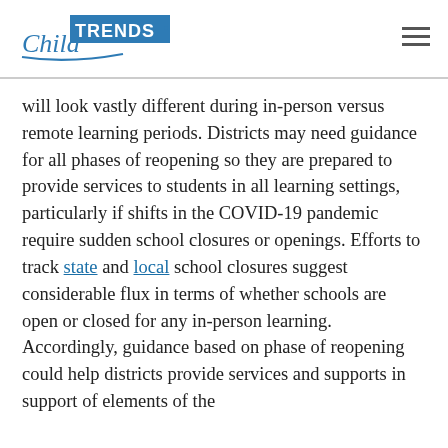Child Trends [logo]
will look vastly different during in-person versus remote learning periods. Districts may need guidance for all phases of reopening so they are prepared to provide services to students in all learning settings, particularly if shifts in the COVID-19 pandemic require sudden school closures or openings. Efforts to track state and local school closures suggest considerable flux in terms of whether schools are open or closed for any in-person learning. Accordingly, guidance based on phase of reopening could help districts provide services and supports in support of elements of the